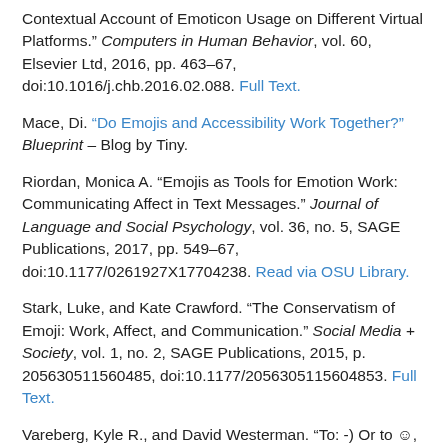Contextual Account of Emoticon Usage on Different Virtual Platforms." Computers in Human Behavior, vol. 60, Elsevier Ltd, 2016, pp. 463–67, doi:10.1016/j.chb.2016.02.088. Full Text.
Mace, Di. "Do Emojis and Accessibility Work Together?" Blueprint – Blog by Tiny.
Riordan, Monica A. "Emojis as Tools for Emotion Work: Communicating Affect in Text Messages." Journal of Language and Social Psychology, vol. 36, no. 5, SAGE Publications, 2017, pp. 549–67, doi:10.1177/0261927X17704238. Read via OSU Library.
Stark, Luke, and Kate Crawford. "The Conservatism of Emoji: Work, Affect, and Communication." Social Media + Society, vol. 1, no. 2, SAGE Publications, 2015, p. 205630511560485, doi:10.1177/2056305115604853. Full Text.
Vareberg, Kyle R., and David Westerman. "To: -) Or to ☺, That Is the Question: a Study of Students' Initial Impressions of Instructors' Paralinguistic Cues."